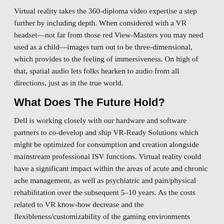Virtual reality takes the 360-diploma video expertise a step further by including depth. When considered with a VR headset—not far from those red View-Masters you may need used as a child—images turn out to be three-dimensional, which provides to the feeling of immersiveness. On high of that, spatial audio lets folks hearken to audio from all directions, just as in the true world.
What Does The Future Hold?
Dell is working closely with our hardware and software partners to co-develop and ship VR-Ready Solutions which might be optimized for consumption and creation alongside mainstream professional ISV functions. Virtual reality could have a significant impact within the areas of acute and chronic ache management, as well as psychiatric and pain/physical rehabilitation over the subsequent 5–10 years. As the costs related to VR know-how decrease and the flexibleness/customizability of the gaming environments increase, VR will have quite a few functions for patients with an array of acute and continual medical conditions. Virtual reality expertise has also been studied as a approach to decrease pain, unpleasantness and anxiety related to from a grip of the common advanced treatment treatment